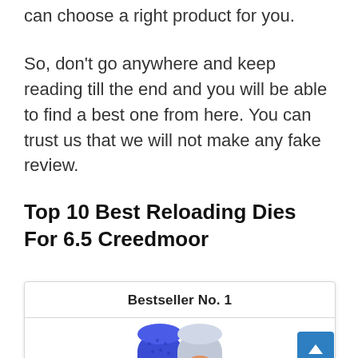can choose a right product for you.
So, don’t go anywhere and keep reading till the end and you will be able to find a best one from here. You can trust us that we will not make any fake review.
Top 10 Best Reloading Dies For 6.5 Creedmoor
Bestseller No. 1
[Figure (photo): Partial view of two colorful athletic shoe insoles — one blue with dot texture, one gray/red — shown from above inside a product card.]